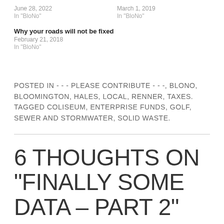June 28, 2022
In "BloNo"
March 1, 2019
In "BloNo"
Why your roads will not be fixed
February 21, 2018
In "BloNo"
POSTED IN - - - PLEASE CONTRIBUTE - - -, BLONO, BLOOMINGTON, HALES, LOCAL, RENNER, TAXES. TAGGED COLISEUM, ENTERPRISE FUNDS, GOLF, SEWER AND STORMWATER, SOLID WASTE.
6 THOUGHTS ON “FINALLY SOME DATA – PART 2”